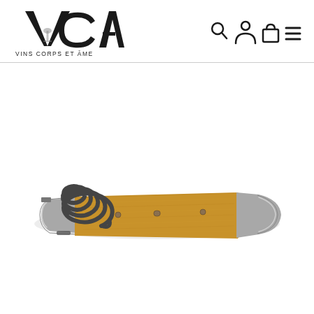[Figure (logo): VCA Vins Corps et Âme logo — large stylized letters V, C, A with a wine glass icon, text 'VINS CORPS ET ÂME' below]
[Figure (screenshot): Navigation bar icons: search (magnifying glass), user account (person silhouette), shopping bag/cart, and hamburger menu]
[Figure (photo): A waiter's corkscrew / sommelier knife with an olive wood handle and stainless steel bolsters, with a dark metallic worm/helix corkscrew extended upward, photographed on a white background]